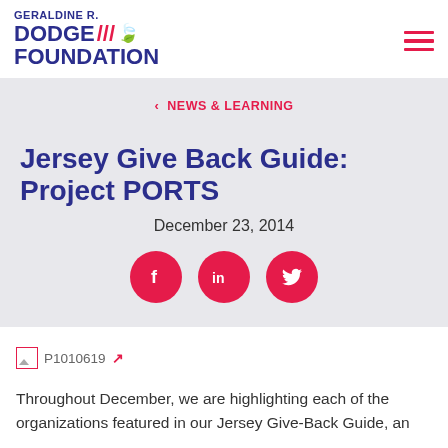GERALDINE R. DODGE FOUNDATION
NEWS & LEARNING
Jersey Give Back Guide: Project PORTS
December 23, 2014
[Figure (other): Social media share icons: Facebook, LinkedIn, Twitter]
[Figure (photo): Broken image placeholder labeled P1010619 with external link icon]
Throughout December, we are highlighting each of the organizations featured in our Jersey Give-Back Guide, an